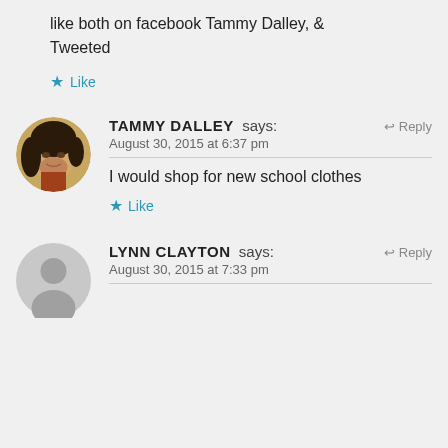like both on facebook Tammy Dalley, & Tweeted
★ Like
TAMMY DALLEY says: August 30, 2015 at 6:37 pm
I would shop for new school clothes
★ Like
LYNN CLAYTON says: August 30, 2015 at 7:33 pm